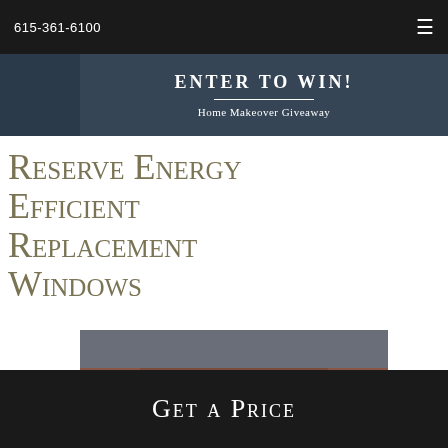615-361-6100
[Figure (screenshot): Dark banner with 'Enter to Win! Home Makeover Giveaway' text on dark blue background]
Reserve Energy Efficient Replacement Windows
[Figure (photo): Photo of a brick house exterior with white-framed replacement windows]
Get a Price